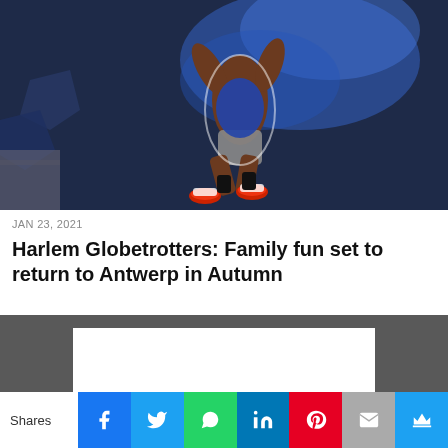[Figure (photo): Harlem Globetrotters basketball player in mid-air trick, dark blue background with geometric shapes]
JAN 23, 2021
Harlem Globetrotters: Family fun set to return to Antwerp in Autumn
[Figure (other): Advertisement white box on dark grey background]
Shares